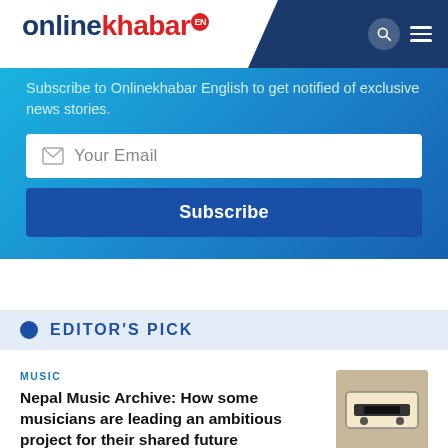onlinekhabar EN
Subscribe to Onlinekhabar English to get notified of exclusive news stories.
Your Email
Subscribe
EDITOR'S PICK
MUSIC
Nepal Music Archive: How some musicians are leading an ambitious project for their shared future